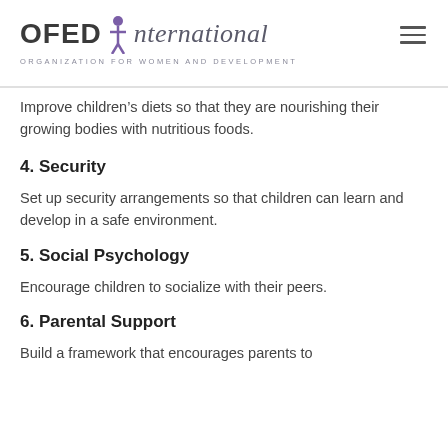OFED International — Organization for Women and Development
Improve children’s diets so that they are nourishing their growing bodies with nutritious foods.
4. Security
Set up security arrangements so that children can learn and develop in a safe environment.
5. Social Psychology
Encourage children to socialize with their peers.
6. Parental Support
Build a framework that encourages parents to